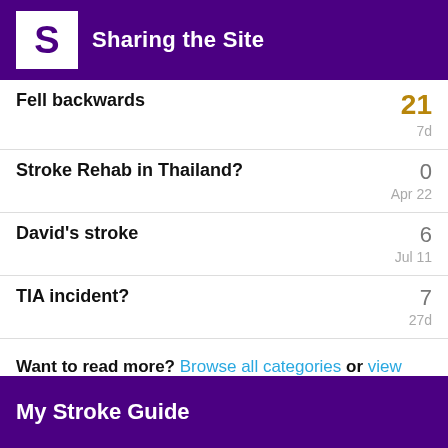Sharing the Site
Fell backwards
Stroke Rehab in Thailand?
David's stroke
TIA incident?
Want to read more? Browse all categories or view latest topics.
My Stroke Guide